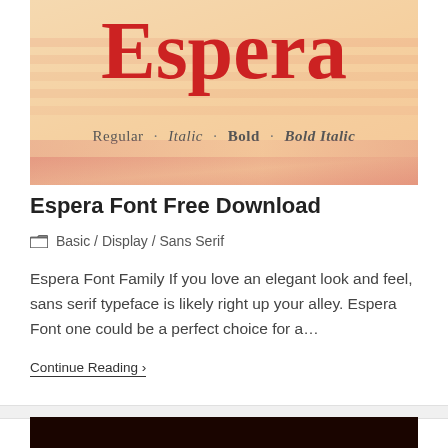[Figure (illustration): Font preview card for Espera font showing large red 'Espera' text on a warm beige/tan background with decorative horizontal stripes. Below the main title text shows 'Regular · Italic · Bold · Bold Italic' in smaller serif type. Pink/coral brush strokes appear at the bottom of the card.]
Espera Font Free Download
Basic / Display / Sans Serif
Espera Font Family If you love an elegant look and feel, sans serif typeface is likely right up your alley. Espera Font one could be a perfect choice for a…
Continue Reading ›
[Figure (photo): Dark brown/black image strip at the bottom of the page, appears to be the top portion of another font preview card.]